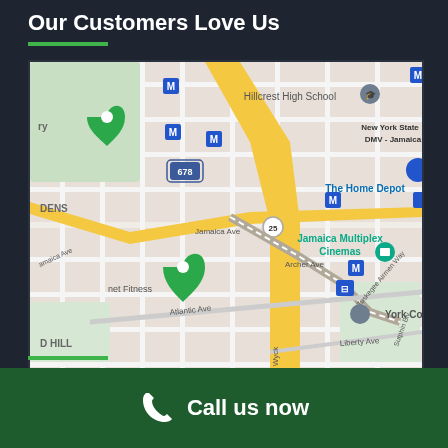Our Customers Love Us
[Figure (map): Google Maps view of Jamaica, Queens, New York area showing streets including Jamaica Ave, Archer Ave, Atlantic Ave, Van Wyck Expressway (678), Liberty Ave, Sutphin Blvd, 201st Ave, Tuskegee Airmen Way. Landmarks include Hillcrest High School, New York State DMV - Jamaica, The Home Depot, Jamaica Multiplex Cinemas, York College, Planet Fitness. Metro (M) stations and transit icons visible throughout.]
Call us now